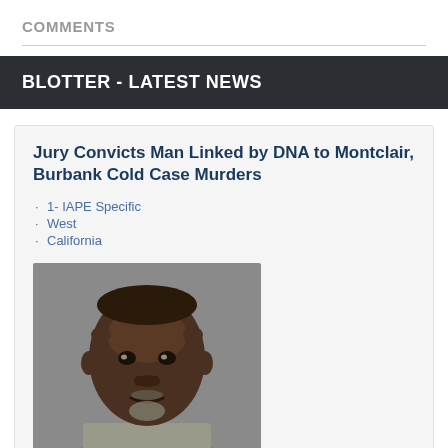COMMENTS
BLOTTER - LATEST NEWS
Jury Convicts Man Linked by DNA to Montclair, Burbank Cold Case Murders
1- IAPE Specific
West
California
[Figure (photo): Mugshot of a middle-aged Black man with a short beard and gray goatee, wearing a gray shirt, against a gray background]